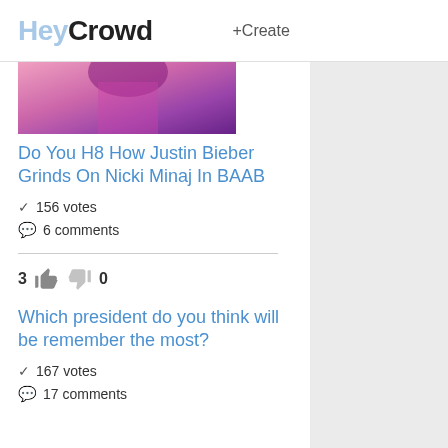HeyCrowd +Create
[Figure (photo): Partial photo showing a person in pink clothing]
Do You H8 How Justin Bieber Grinds On Nicki Minaj In BAAB
✓ 156 votes
6 comments
3 👍 👎 0
Which president do you think will be remember the most?
✓ 167 votes
17 comments